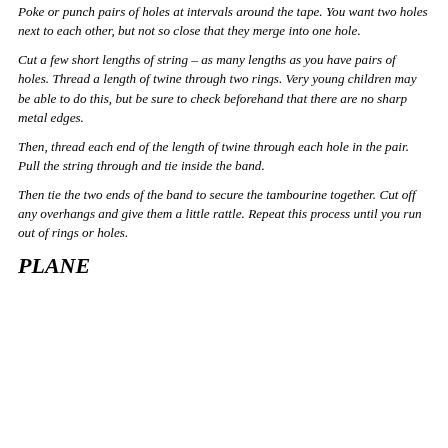Poke or punch pairs of holes at intervals around the tape. You want two holes next to each other, but not so close that they merge into one hole.
Cut a few short lengths of string – as many lengths as you have pairs of holes. Thread a length of twine through two rings. Very young children may be able to do this, but be sure to check beforehand that there are no sharp metal edges.
Then, thread each end of the length of twine through each hole in the pair. Pull the string through and tie inside the band.
Then tie the two ends of the band to secure the tambourine together. Cut off any overhangs and give them a little rattle. Repeat this process until you run out of rings or holes.
PLANE